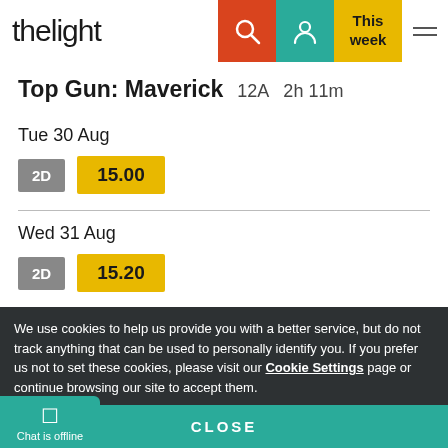the light — navigation header with search, account, This week, and menu icons
Top Gun: Maverick  12A  2h 11m
Tue 30 Aug
2D  15.00
Wed 31 Aug
2D  15.20
We use cookies to help us provide you with a better service, but do not track anything that can be used to personally identify you. If you prefer us not to set these cookies, please visit our Cookie Settings page or continue browsing our site to accept them.
CLOSE